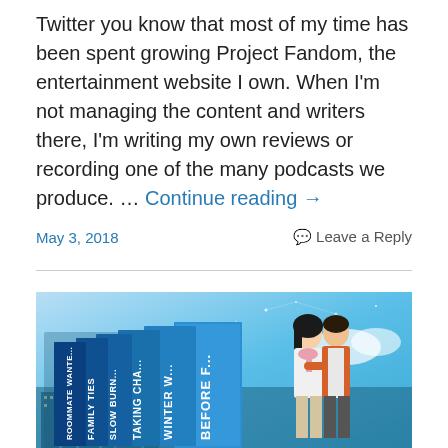Twitter you know that most of my time has been spent growing Project Fandom, the entertainment website I own. When I'm not managing the content and writers there, I'm writing my own reviews or recording one of the many podcasts we produce. … Continue reading →
May 3, 2018 | Leave a Reply
[Figure (photo): Book box set with multiple book spines visible at an angle, titled with names like 'BEFORE FO...', 'WINTER W...', 'TAKING CHA...', 'SLOW BURN...', 'FAMILY TIES', 'ROOMMATE WANTE...' on a blue city skyline background with two illustrated characters (a woman in a white shirt and pink scarf, and a man in an orange jacket) standing together]